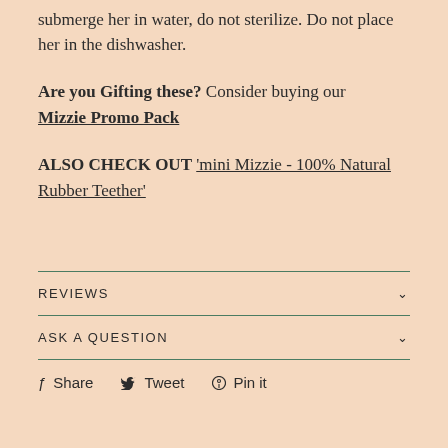submerge her in water, do not sterilize. Do not place her in the dishwasher.
Are you Gifting these? Consider buying our Mizzie Promo Pack
ALSO CHECK OUT 'mini Mizzie - 100% Natural Rubber Teether'
REVIEWS
ASK A QUESTION
Share  Tweet  Pin it